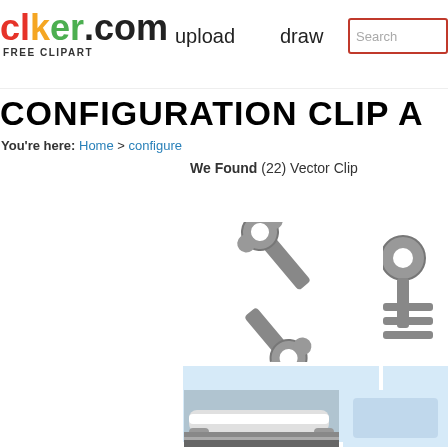clker.com FREE CLIPART | upload | draw | Search
CONFIGURATION CLIP A
You're here: Home > configure
We Found (22) Vector Clip
[Figure (illustration): Wrench/spanner clipart icon in grey]
[Figure (illustration): Configure with keyboard clipart icon]
Configure
C S
[Figure (photo): Train/bullet train photo thumbnail]
[Figure (illustration): Partial clipart thumbnail]